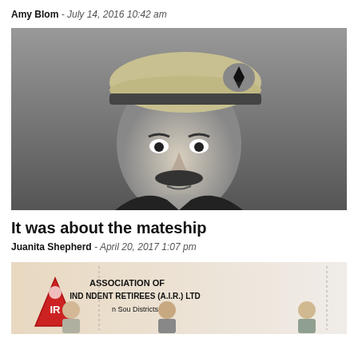Amy Blom - July 14, 2016 10:42 am
[Figure (photo): Black and white portrait photo of a man wearing a military beret with an insignia badge, looking slightly upward, with a mustache.]
It was about the mateship
Juanita Shepherd - April 20, 2017 1:07 pm
[Figure (photo): Color photo of people in front of a banner reading 'ASSOCIATION OF INDEPENDENT RETIREES (A.I.R.) LTD' with an AIR logo triangle on the left and text about Southern Districts.]